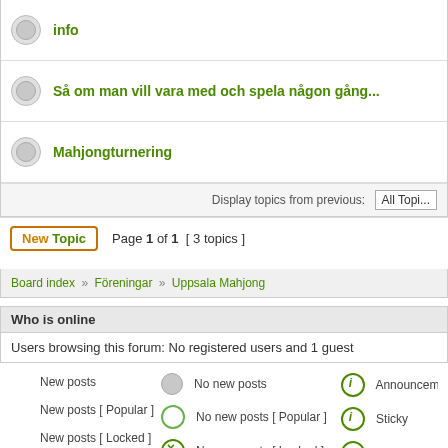info
Så om man vill vara med och spela någon gång...
Mahjongturnering
Display topics from previous: All Topics
New Topic   Page 1 of 1   [ 3 topics ]
Board index » Föreningar » Uppsala Mahjong
Who is online
Users browsing this forum: No registered users and 1 guest
New posts   No new posts   Announcements
New posts [ Popular ]   No new posts [ Popular ]   Sticky
New posts [ Locked ]   No new posts [ Locked ]   Moved topic
Search for:   Go
Powered by phpBB © 2  Designed